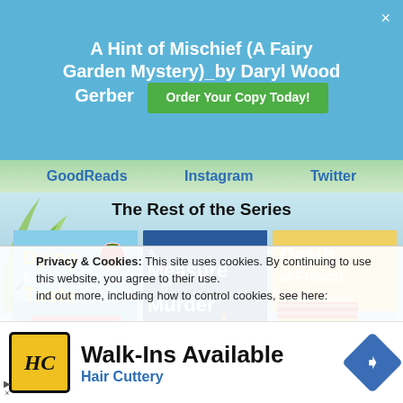A Hint of Mischief (A Fairy Garden Mystery)_by Daryl Wood Gerber
Order Your Copy Today!
GoodReads   Instagram   Twitter
The Rest of the Series
[Figure (photo): Three book covers: 'Dying for a Taste', 'A Measure of Murder', 'Death al Fresco']
Privacy & Cookies: This site uses cookies. By continuing to use this website, you agree to their use.
ind out more, including how to control cookies, see here:
Walk-Ins Available
Hair Cuttery